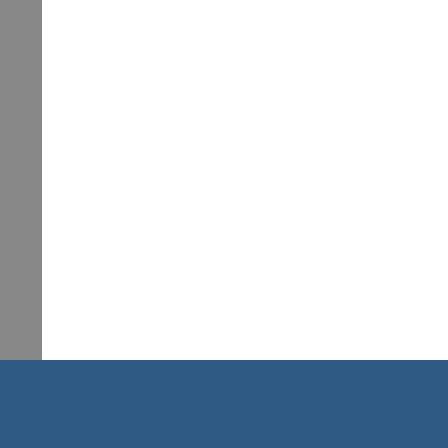[Figure (screenshot): Textarea input box with light gray background]
Submit
{ 1 trackback }
Weekly Favorites, Gratitude, a
PREVIOUS POST: Stocks Are
NEXT POST: Thoughts For Th